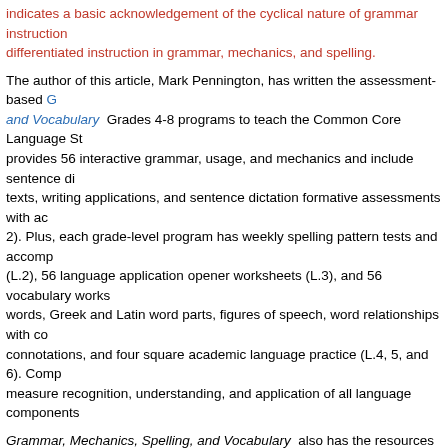indicates a basic acknowledgement of the cyclical nature of grammar instruction differentiated instruction in grammar, mechanics, and spelling.
The author of this article, Mark Pennington, has written the assessment-based Grammar, Mechanics, Spelling, and Vocabulary Grades 4-8 programs to teach the Common Core Language Standards. provides 56 interactive grammar, usage, and mechanics and include sentence diagrams, texts, writing applications, and sentence dictation formative assessments with ac 2). Plus, each grade-level program has weekly spelling pattern tests and accomp (L.2), 56 language application opener worksheets (L.3), and 56 vocabulary works words, Greek and Latin word parts, figures of speech, word relationships with con connotations, and four square academic language practice (L.4, 5, and 6). Comp measure recognition, understanding, and application of all language components
Grammar, Mechanics, Spelling, and Vocabulary also has the resources to meet Diagnostic grammar, usage, mechanics, and spelling assessments provide the d individualize instruction with targeted worksheets. Each remedial worksheet (ove independent practice and a brief formative assessment. Students CATCH Up on while they KEEP UP with current grade-level Standards. Check out the YouTube the Grammar, Mechanics, Spelling, and Vocabulary program.
Grammar/Mechanics, Spelling/Vocabulary, Writing
Common Core Grammar Standards, Common Core Language Standards, Common Core State ELA Standards, Common Core State English Standards, Grammar Co
Essay e-Grading
January 16th, 2011 | Mark Pennington, MA Reading Specialist